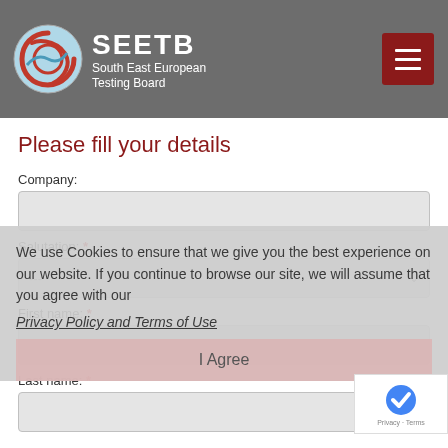SEETB South East European Testing Board
Please fill your details
Company:
Salutation: *
First name: *
Last name: *
We use Cookies to ensure that we give you the best experience on our website. If you continue to browse our site, we will assume that you agree with our Privacy Policy and Terms of Use
I Agree